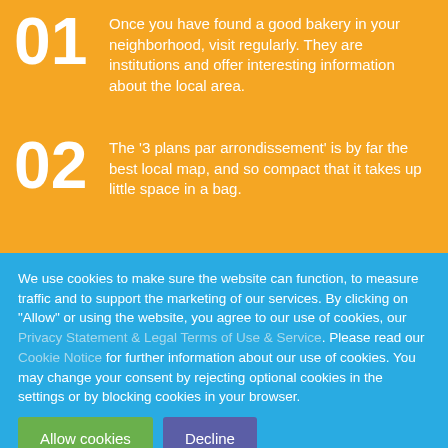01 Once you have found a good bakery in your neighborhood, visit regularly. They are institutions and offer interesting information about the local area.
02 The '3 plans par arrondissement' is by far the best local map, and so compact that it takes up little space in a bag.
03 The seemingly constant flood of locksmith service advertisements in
We use cookies to make sure the website can function, to measure traffic and to support the marketing of our services. By clicking on "Allow" or using the website, you agree to our use of cookies, our Privacy Statement & Legal Terms of Use & Service. Please read our Cookie Notice for further information about our use of cookies. You may change your consent by rejecting optional cookies in the settings or by blocking cookies in your browser.
Allow cookies  Decline